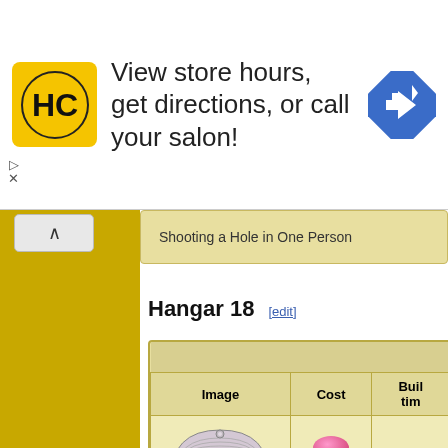[Figure (screenshot): Advertisement banner for Hair Club (HC) salon with logo, text 'View store hours, get directions, or call your salon!' and a blue directions arrow icon]
Shooting a Hole in One Person
Hangar 18 [edit]
| Image | Cost | Build time |
| --- | --- | --- |
| [hangar 18 building image] | [gem icon] 50 | 6s |